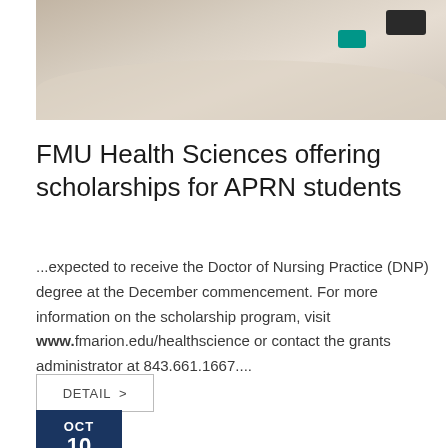[Figure (photo): Photo of students studying at a desk with papers, books and smartphones visible]
FMU Health Sciences offering scholarships for APRN students
...expected to receive the Doctor of Nursing Practice (DNP) degree at the December commencement. For more information on the scholarship program, visit www.fmarion.edu/healthscience or contact the grants administrator at 843.661.1667....
DETAIL >
OCT 10